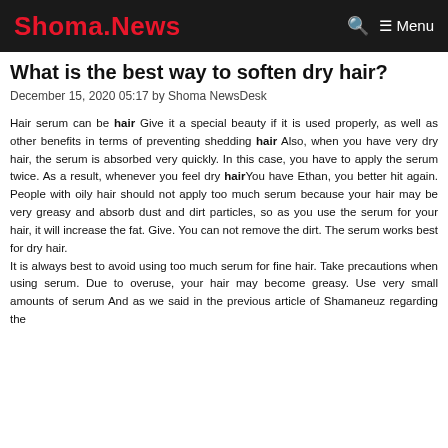Shoma.News — Menu
What is the best way to soften dry hair?
December 15, 2020 05:17 by Shoma NewsDesk
Hair serum can be hair Give it a special beauty if it is used properly, as well as other benefits in terms of preventing shedding hair Also, when you have very dry hair, the serum is absorbed very quickly. In this case, you have to apply the serum twice. As a result, whenever you feel dry hairYou have Ethan, you better hit again. People with oily hair should not apply too much serum because your hair may be very greasy and absorb dust and dirt particles, so as you use the serum for your hair, it will increase the fat. Give. You can not remove the dirt. The serum works best for dry hair.
It is always best to avoid using too much serum for fine hair. Take precautions when using serum. Due to overuse, your hair may become greasy. Use very small amounts of serum And as we said in the previous article of Shamaneuz regarding the method of using the serum you should first apply the...